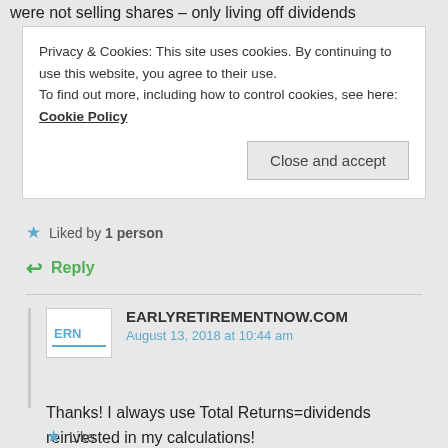were not selling shares – only living off dividends
Privacy & Cookies: This site uses cookies. By continuing to use this website, you agree to their use.
To find out more, including how to control cookies, see here: Cookie Policy
Close and accept
Liked by 1 person
Reply
EARLYRETIREMENTNOW.COM
August 13, 2018 at 10:44 am
Thanks! I always use Total Returns=dividends reinvested in my calculations!
Like